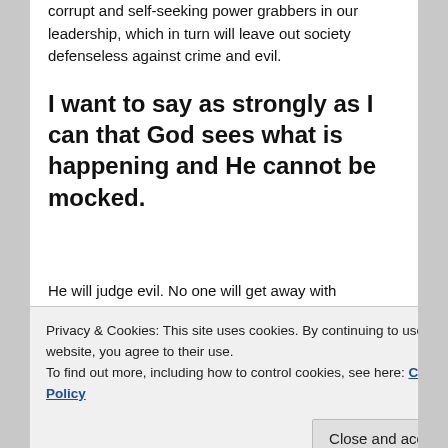corrupt and self-seeking power grabbers in our leadership, which in turn will leave out society defenseless against crime and evil.
I want to say as strongly as I can that God sees what is happening and He cannot be mocked.
He will judge evil. No one will get away with anything. Soon, very soon all true Christians will be taken from this world and the rest will be left to be judged by God. You who have rejected Him will experience His wrath for 7-
Privacy & Cookies: This site uses cookies. By continuing to use this website, you agree to their use.
To find out more, including how to control cookies, see here: Cookie Policy
emphasize.